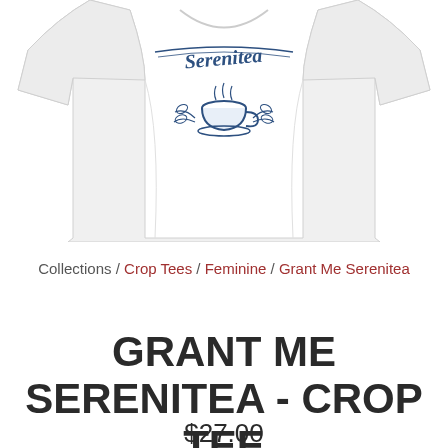[Figure (photo): White crop t-shirt with 'Serenitea' script text and decorative tea cup with laurel branches design in dark blue/navy ink]
Collections / Crop Tees / Feminine / Grant Me Serenitea
GRANT ME SERENITEA - CROP TEE
$27.00